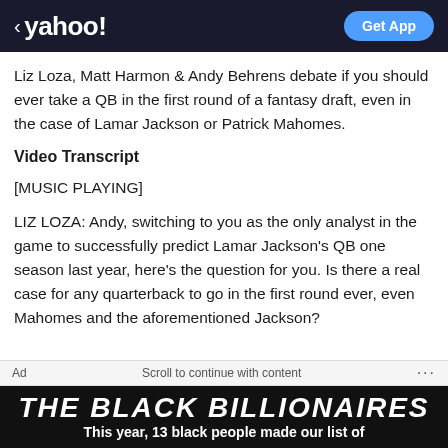< yahoo! | Get App
Liz Loza, Matt Harmon & Andy Behrens debate if you should ever take a QB in the first round of a fantasy draft, even in the case of Lamar Jackson or Patrick Mahomes.
Video Transcript
[MUSIC PLAYING]
LIZ LOZA: Andy, switching to you as the only analyst in the game to successfully predict Lamar Jackson's QB one season last year, here's the question for you. Is there a real case for any quarterback to go in the first round ever, even Mahomes and the aforementioned Jackson?
Ad  Scroll to continue with content  ...
The Black Billionaires  This year, 13 black people made our list of